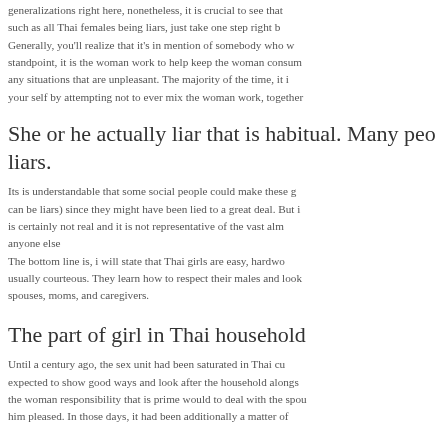generalizations right here, nonetheless, it is crucial to see that such as all Thai females being liars, just take one step right b... Generally, you'll realize that it's in mention of somebody who w... standpoint, it is the woman work to help keep the woman consum... any situations that are unpleasant. The majority of the time, it i... your self by attempting not to ever mix the woman work, together ...
She or he actually liar that is habitual. Many peo... liars.
Its is understandable that some social people could make these g... can be liars) since they might have been lied to a great deal. But i... is certainly not real and it is not representative of the vast alm... anyone else
The bottom line is, i will state that Thai girls are easy, hardwo... usually courteous. They learn how to respect their males and look... spouses, moms, and caregivers.
The part of girl in Thai household
Until a century ago, the sex unit had been saturated in Thai cu... expected to show good ways and look after the household alongs... the woman responsibility that is prime would to deal with the spou... him pleased. In those days, it had been additionally a matter of